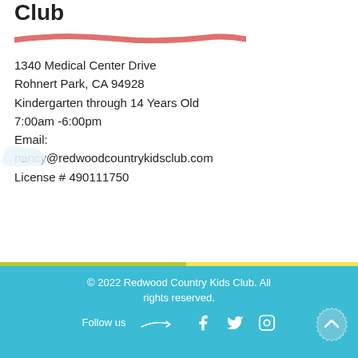Club
1340 Medical Center Drive
Rohnert Park, CA 94928
Kindergarten through 14 Years Old
7:00am -6:00pm
Email:
nancy@redwoodcountrykidsclub.com
License # 490111750
© 2022 Redwood Country Kids Club. All rights reserved.
Follow us